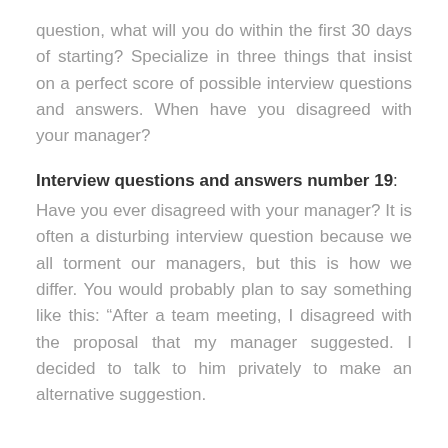question, what will you do within the first 30 days of starting? Specialize in three things that insist on a perfect score of possible interview questions and answers. When have you disagreed with your manager?
Interview questions and answers number 19:
Have you ever disagreed with your manager? It is often a disturbing interview question because we all torment our managers, but this is how we differ. You would probably plan to say something like this: “After a team meeting, I disagreed with the proposal that my manager suggested. I decided to talk to him privately to make an alternative suggestion.